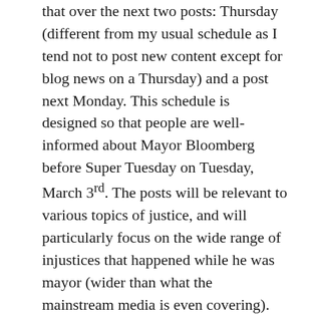that over the next two posts: Thursday (different from my usual schedule as I tend not to post new content except for blog news on a Thursday) and a post next Monday. This schedule is designed so that people are well-informed about Mayor Bloomberg before Super Tuesday on Tuesday, March 3rd. The posts will be relevant to various topics of justice, and will particularly focus on the wide range of injustices that happened while he was mayor (wider than what the mainstream media is even covering). Note that none of the injustices will go much outside the purview of him as a mayor; despite his record as a businessman being well-deserving of scrutiny, I will not focus on that aspect of him in my next two posts.
I am hoping that my mini-series (which is NOT the series that is in the works, according to a recent blog post I wrote—this is actually a bit of an impromptu series) can raise awareness of how Bloomberg was and what he